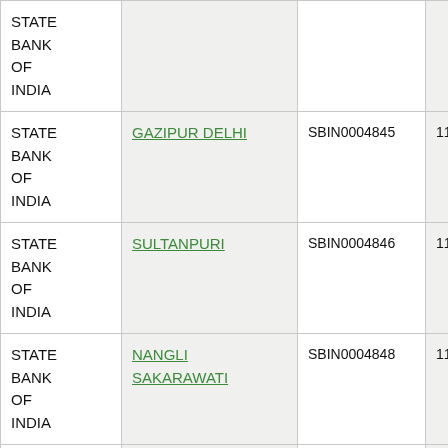| Bank | Branch | IFSC | MICR |
| --- | --- | --- | --- |
| STATE BANK OF INDIA |  |  |  |
| STATE BANK OF INDIA | GAZIPUR DELHI | SBIN0004845 | 110002039 |
| STATE BANK OF INDIA | SULTANPURI | SBIN0004846 | 110002123 |
| STATE BANK OF INDIA | NANGLI SAKARAWATI | SBIN0004848 | 110002083 |
| STATE BANK OF INDIA | ROHTAK ROAD DSIDC | SBIN0004849 | 110002108 |